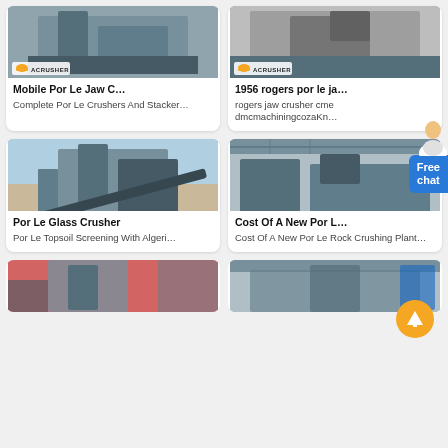[Figure (photo): Mobile jaw crusher machine with ACRUSHER logo badge at bottom left]
Mobile Por Le Jaw C…
Complete Por Le Crushers And Stacker…
[Figure (photo): Rogers portable jaw crusher machine with ACRUSHER logo badge]
1956 rogers por le ja…
rogers jaw crusher cme dmcmachiningcozaKn…
[Figure (photo): Por Le Glass Crusher industrial equipment outdoors with ACRUSHER logo]
Por Le Glass Crusher
Por Le Topsoil Screening With Algeri…
[Figure (photo): Cost of new portable rock crushing plant in factory with ACRUSHER logo. Free chat button and up-arrow button visible.]
Cost Of A New Por L…
Cost Of A New Por Le Rock Crushing Plant…
[Figure (photo): Bottom partial image of crusher machine in red/industrial factory]
[Figure (photo): Bottom partial image of crusher machine in factory, blue elements visible]